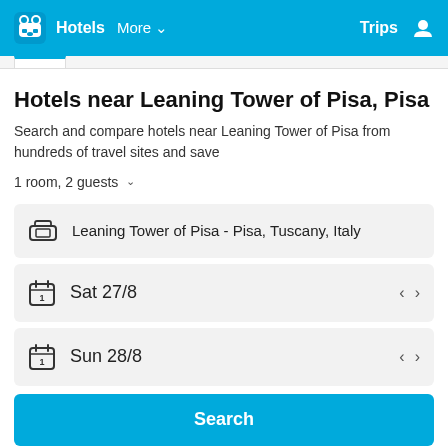Hotels  More  Trips
Hotels near Leaning Tower of Pisa, Pisa
Search and compare hotels near Leaning Tower of Pisa from hundreds of travel sites and save
1 room, 2 guests
Leaning Tower of Pisa - Pisa, Tuscany, Italy
Sat 27/8
Sun 28/8
Search